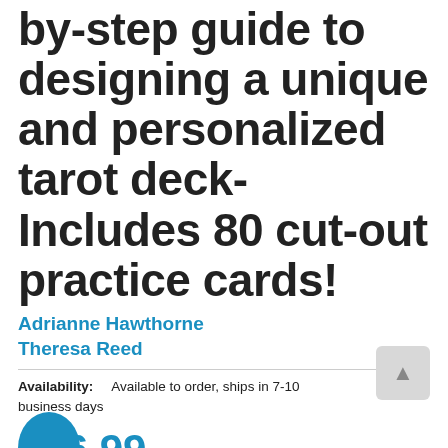by-step guide to designing a unique and personalized tarot deck-Includes 80 cut-out practice cards!
Adrianne Hawthorne
Theresa Reed
Availability: Available to order, ships in 7-10 business days
$26.99 AUD, inc. GST
RRP $29.99
SAVE $3.00 | 10% OFF